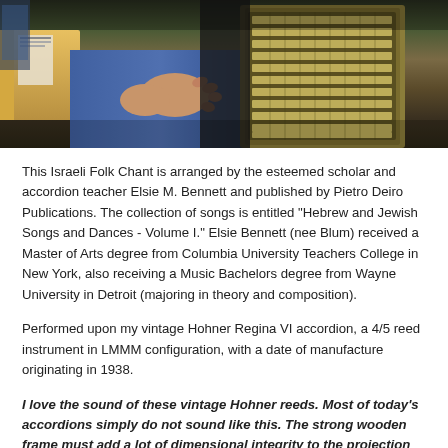[Figure (photo): A person playing a vintage accordion, hands visible on the keyboard and bellows, indoors with books/shelves visible in background.]
This Israeli Folk Chant is arranged by the esteemed scholar and accordion teacher Elsie M. Bennett and published by Pietro Deiro Publications. The collection of songs is entitled "Hebrew and Jewish Songs and Dances - Volume I." Elsie Bennett (nee Blum) received a Master of Arts degree from Columbia University Teachers College in New York, also receiving a Music Bachelors degree from Wayne University in Detroit (majoring in theory and composition).
Performed upon my vintage Hohner Regina VI accordion, a 4/5 reed instrument in LMMM configuration, with a date of manufacture originating in 1938.
I love the sound of these vintage Hohner reeds.  Most of today's accordions simply do not sound like this.  The strong wooden frame must add a lot of dimensional integrity to the projection of both treble and bass voices.  There are only two treble settings, one lighter